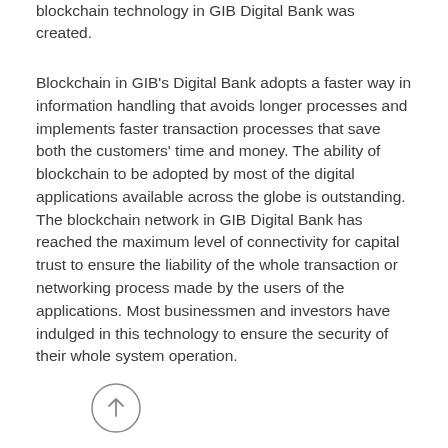blockchain technology in GIB Digital Bank was created.
Blockchain in GIB's Digital Bank adopts a faster way in information handling that avoids longer processes and implements faster transaction processes that save both the customers' time and money. The ability of blockchain to be adopted by most of the digital applications available across the globe is outstanding. The blockchain network in GIB Digital Bank has reached the maximum level of connectivity for capital trust to ensure the liability of the whole transaction or networking process made by the users of the applications. Most businessmen and investors have indulged in this technology to ensure the security of their whole system operation.
[Figure (other): A circular arrow-up icon button]